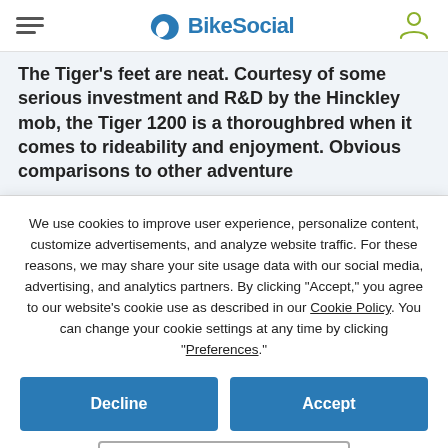BikeSocial
The Tiger's feet are neat. Courtesy of some serious investment and R&D by the Hinckley mob, the Tiger 1200 is a thoroughbred when it comes to rideability and enjoyment. Obvious comparisons to other adventure
We use cookies to improve user experience, personalize content, customize advertisements, and analyze website traffic. For these reasons, we may share your site usage data with our social media, advertising, and analytics partners. By clicking "Accept," you agree to our website's cookie use as described in our Cookie Policy. You can change your cookie settings at any time by clicking “Preferences.”
Decline
Accept
Preferences